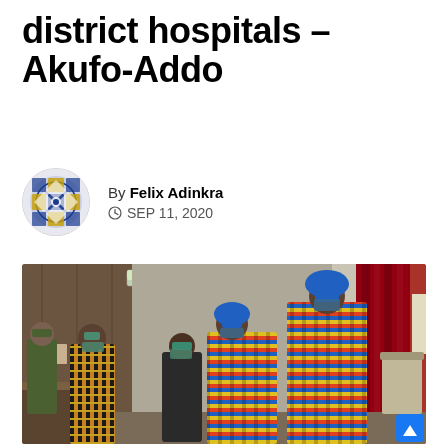district hospitals – Akufo-Addo
By Felix Adinkra
SEP 11, 2020
[Figure (photo): Group of people in traditional Ghanaian kente cloth and face masks gathered indoors in a formal hall with wooden paneling, fluorescent ceiling lights, and red curtains in the background.]